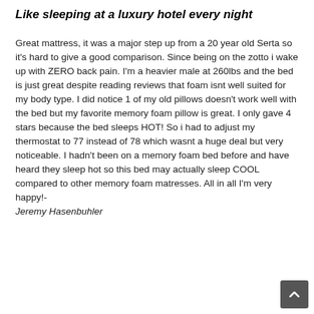Like sleeping at a luxury hotel every night
Great mattress, it was a major step up from a 20 year old Serta so it's hard to give a good comparison. Since being on the zotto i wake up with ZERO back pain. I'm a heavier male at 260lbs and the bed is just great despite reading reviews that foam isnt well suited for my body type. I did notice 1 of my old pillows doesn't work well with the bed but my favorite memory foam pillow is great. I only gave 4 stars because the bed sleeps HOT! So i had to adjust my thermostat to 77 instead of 78 which wasnt a huge deal but very noticeable. I hadn't been on a memory foam bed before and have heard they sleep hot so this bed may actually sleep COOL compared to other memory foam matresses. All in all I'm very happy!- Jeremy Hasenbuhler